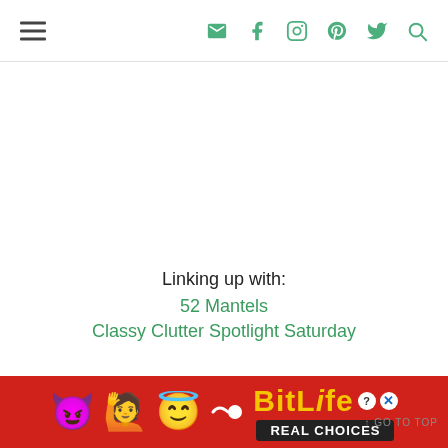Navigation header with hamburger menu and social icons (email, facebook, instagram, pinterest, twitter, search)
Linking up with:
52 Mantels
Classy Clutter Spotlight Saturday
BitLife Real Choices advertisement banner